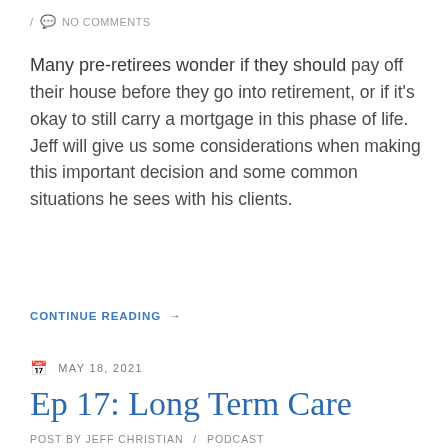/ NO COMMENTS
Many pre-retirees wonder if they should pay off their house before they go into retirement, or if it's okay to still carry a mortgage in this phase of life. Jeff will give us some considerations when making this important decision and some common situations he sees with his clients.
CONTINUE READING →
MAY 18, 2021
Ep 17: Long Term Care
POST BY JEFF CHRISTIAN / PODCAST
/ HEALTH, LONG TERM CARE, PLANNING, RETIREMENT